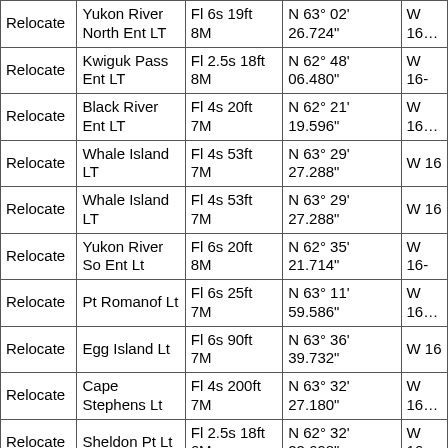| Action | Name | Characteristic | Latitude | Longitude |
| --- | --- | --- | --- | --- |
| Relocate | Yukon River North Ent LT | Fl 6s 19ft 8M | N 63° 02' 26.724" | W 16… |
| Relocate | Kwiguk Pass Ent LT | Fl 2.5s 18ft 8M | N 62° 48' 06.480" | W 16- |
| Relocate | Black River Ent LT | Fl 4s 20ft 7M | N 62° 21' 19.596" | W 16… |
| Relocate | Whale Island LT | Fl 4s 53ft 7M | N 63° 29' 27.288" | W 16 |
| Relocate | Whale Island LT | Fl 4s 53ft 7M | N 63° 29' 27.288" | W 16 |
| Relocate | Yukon River So Ent Lt | Fl 6s 20ft 8M | N 62° 35' 21.714" | W 16- |
| Relocate | Pt Romanof Lt | Fl 6s 25ft 7M | N 63° 11' 59.586" | W 16… |
| Relocate | Egg Island Lt | Fl 6s 90ft 7M | N 63° 36' 39.732" | W 16 |
| Relocate | Cape Stephens Lt | Fl 4s 200ft 7M | N 63° 32' 27.180" | W 16… |
| Relocate | Sheldon Pt Lt | Fl 2.5s 18ft 6M | N 62° 32' 22.698" | W 16… |
| Relocate | Kakuktahuk Pass Ent Lt | Fl 2.5s 18ft 8M | N 63° 08' 57.336" | W 16… |
Edition 10, Print Date Nov. /2003
| Action | Name | Characteristic | Latitude | Longitude |
| --- | --- | --- | --- | --- |
| Revise | KWIGUK PASS ENT LT | Fl 2.5s 18ft 8M | N 62° 48' 04.000" | W 16- |